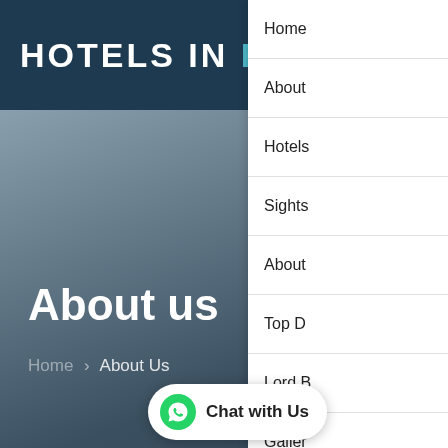HOTELS IN RAJGIR
About us
Home › About Us
Welcome Hotels Rajg...
Home
About
Hotels
Sights
About
Top D
Lord B
Galler
Conta
Chat with Us